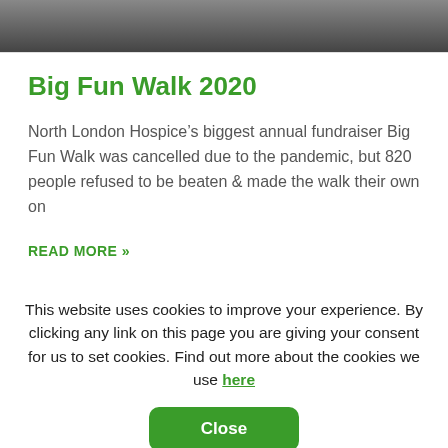[Figure (photo): Top strip showing people walking, partially visible at top of page]
Big Fun Walk 2020
North London Hospice’s biggest annual fundraiser Big Fun Walk was cancelled due to the pandemic, but 820 people refused to be beaten & made the walk their own on
READ MORE »
This website uses cookies to improve your experience. By clicking any link on this page you are giving your consent for us to set cookies. Find out more about the cookies we use here
Close